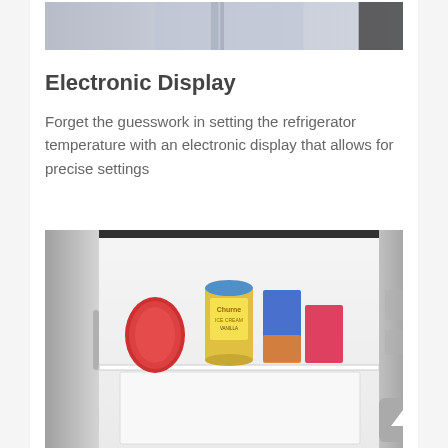[Figure (photo): Partial photo of a person in a light blue shirt, cropped at the top of the page]
Electronic Display
Forget the guesswork in setting the refrigerator temperature with an electronic display that allows for precise settings
[Figure (photo): Photo of an open refrigerator interior showing shelves with food items including a red bag, a Churned container, and colorful boxes]